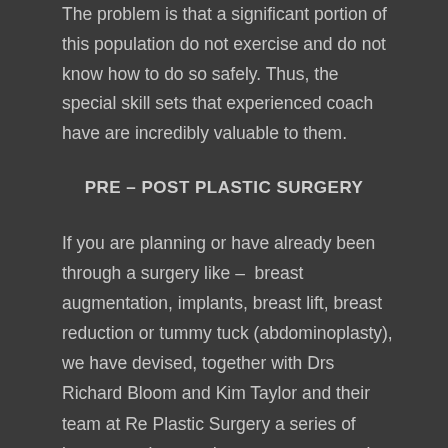The problem is that a significant portion of this population do not exercise and do not know how to do so safely. Thus, the special skill sets that experienced coach have are incredibly valuable to them.
PRE – POST PLASTIC SURGERY
If you are planning or have already been through a surgery like – breast augmentation, implants, breast lift, breast reduction or tummy tuck (abdominoplasty), we have devised, together with Drs Richard Bloom and Kim Taylor and their team at Re Plastic Surgery a series of incremental pre and post-surgery exercise programs, to assist with your